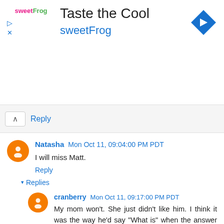[Figure (screenshot): Advertisement banner for sweetFrog frozen yogurt with logo, navigation arrow icon, play and close buttons]
Reply
Natasha Mon Oct 11, 09:04:00 PM PDT
I will miss Matt.
Reply
▾ Replies
cranberry Mon Oct 11, 09:17:00 PM PDT
My mom won't. She just didn't like him. I think it was the way he'd say "What is" when the answer was a person's name, which clearly requires a "Who is". Something minor like that. pjbWondersWhyHeCouldn'tMakeItAnEven40? AlmostSeemsLikeHeTookADiveToday